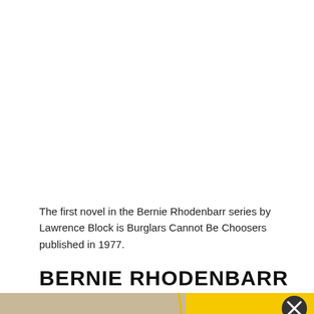The first novel in the Bernie Rhodenbarr series by Lawrence Block is Burglars Cannot Be Choosers published in 1977.
BERNIE RHODENBARR
[Figure (illustration): Advertisement banner showing an orange/yellow illustrated figure swimming or floating in teal water, with St. Pete Clearwater logo and yellow background on the right half. A close button (X circle) appears in the top right corner of the ad.]